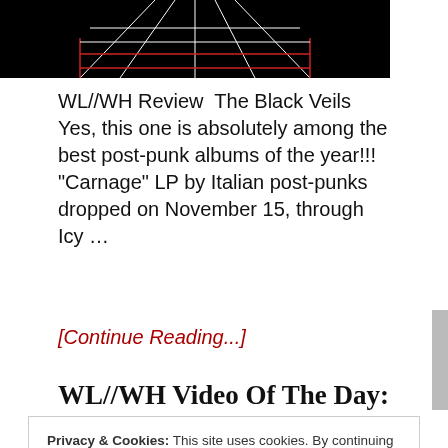[Figure (photo): Album cover artwork with dark background, geometric line art in white and red forming a grid/perspective pattern]
WL//WH Review  The Black Veils Yes, this one is absolutely among the best post-punk albums of the year!!! “Carnage” LP by Italian post-punks dropped on November 15, through Icy …
[Continue Reading...]
WL//WH Video Of The Day:
Privacy & Cookies: This site uses cookies. By continuing to use this website, you agree to their use.
To find out more, including how to control cookies, see here:
Cookie Policy
Close and accept
Day